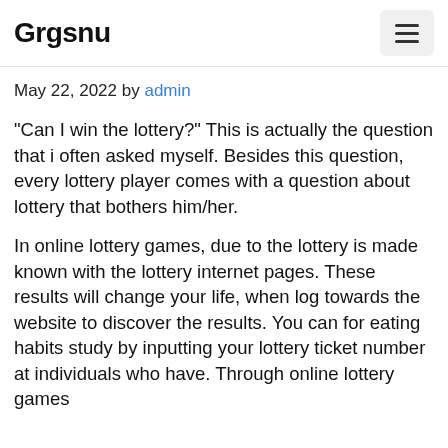Grgsnu
May 22, 2022 by admin
“Can I win the lottery?” This is actually the question that i often asked myself. Besides this question, every lottery player comes with a question about lottery that bothers him/her.
In online lottery games, due to the lottery is made known with the lottery internet pages. These results will change your life, when log towards the website to discover the results. You can for eating habits study by inputting your lottery ticket number at individuals who have. Through online lottery games